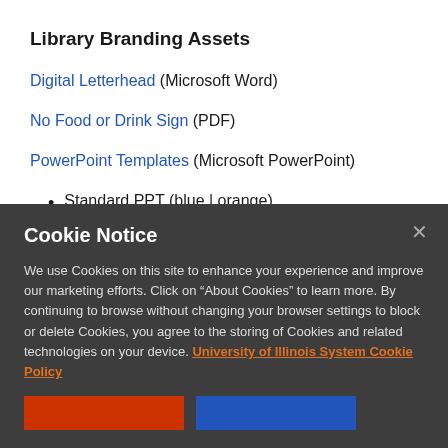Library Branding Assets
Digital Letterhead (Microsoft Word)
No Food or Drink Sign (PDF)
PowerPoint Templates (Microsoft PowerPoint)
Standard PPT (blue | orange)
Cookie Notice
We use Cookies on this site to enhance your experience and improve our marketing efforts. Click on “About Cookies” to learn more. By continuing to browse without changing your browser settings to block or delete Cookies, you agree to the storing of Cookies and related technologies on your device. University of Illinois System Cookie Policy